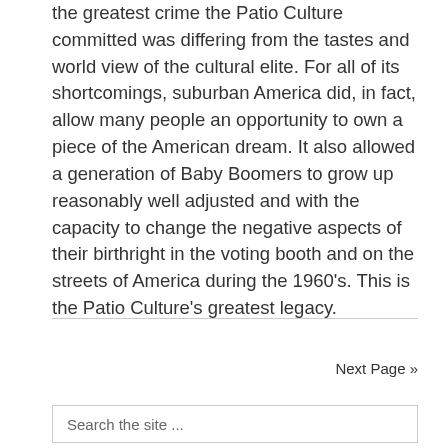the greatest crime the Patio Culture committed was differing from the tastes and world view of the cultural elite. For all of its shortcomings, suburban America did, in fact, allow many people an opportunity to own a piece of the American dream. It also allowed a generation of Baby Boomers to grow up reasonably well adjusted and with the capacity to change the negative aspects of their birthright in the voting booth and on the streets of America during the 1960's. This is the Patio Culture's greatest legacy.
Next Page »
Search the site ...